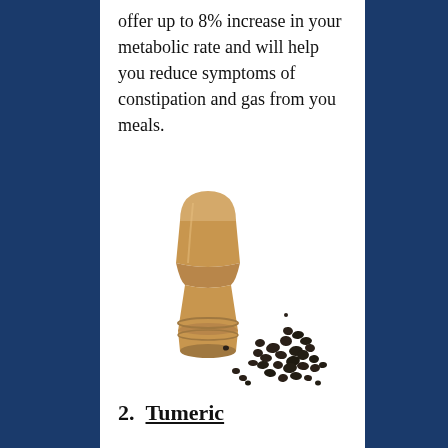offer up to 8% increase in your metabolic rate and will help you reduce symptoms of constipation and gas from you meals.
[Figure (photo): A wooden pepper grinder/mill next to a scattered pile of black peppercorns]
2.  Tumeric